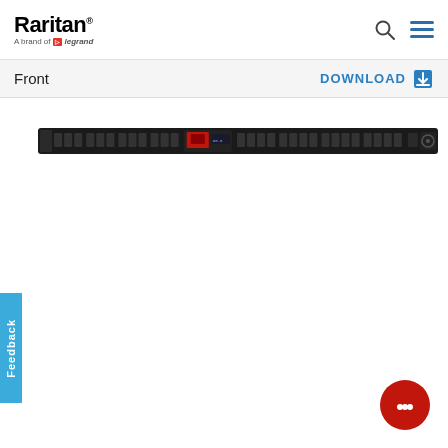[Figure (logo): Raritan logo with 'A brand of Legrand' tagline]
Front
DOWNLOAD
[Figure (photo): Raritan PDU (Power Distribution Unit) front view - a long thin rack-mount black strip with outlets and a central display module]
Feedback